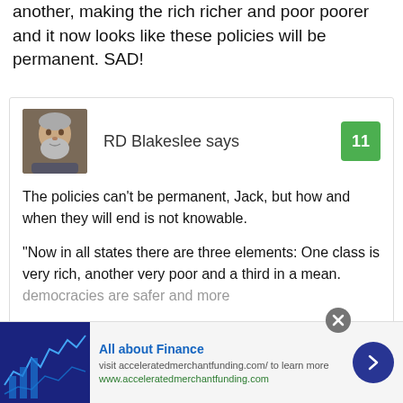another, making the rich richer and poor poorer and it now looks like these policies will be permanent. SAD!
RD Blakeslee says
The policies can't be permanent, Jack, but how and when they will end is not knowable.
“Now in all states there are three elements: One class is very rich, another very poor and a third in a mean. democracies are safer and more
All about Finance
visit acceleratedmerchantfunding.com/ to learn more
www.acceleratedmerchantfunding.com